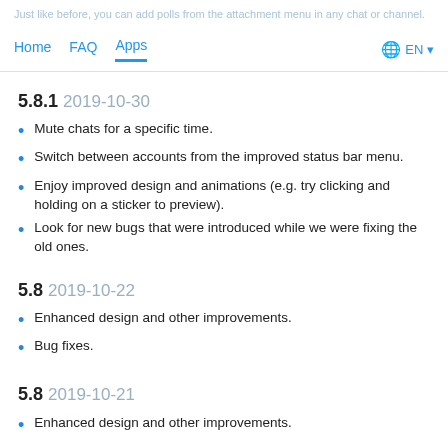Just like before, you can add polls from the attachment menu in any chat or channel.
Home  FAQ  Apps  EN
5.8.1 2019-10-30
Mute chats for a specific time.
Switch between accounts from the improved status bar menu.
Enjoy improved design and animations (e.g. try clicking and holding on a sticker to preview).
Look for new bugs that were introduced while we were fixing the old ones.
5.8 2019-10-22
Enhanced design and other improvements.
Bug fixes.
5.8 2019-10-21
Enhanced design and other improvements.
5.7 2019-09-09
SCHEDULED MESSAGES